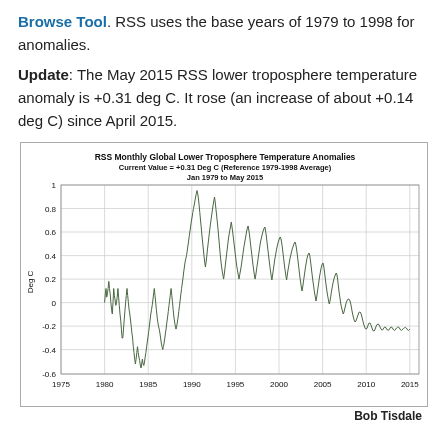Browse Tool. RSS uses the base years of 1979 to 1998 for anomalies.
Update: The May 2015 RSS lower troposphere temperature anomaly is +0.31 deg C. It rose (an increase of about +0.14 deg C) since April 2015.
[Figure (continuous-plot): Line chart showing RSS monthly global lower troposphere temperature anomalies from Jan 1979 to May 2015. The y-axis ranges from -0.6 to 1.0 deg C. The data shows an overall upward trend with high variability. A notable spike near 1998 reaches about +0.85 deg C. Recent values cluster around +0.2 to +0.3 deg C.]
Bob Tisdale